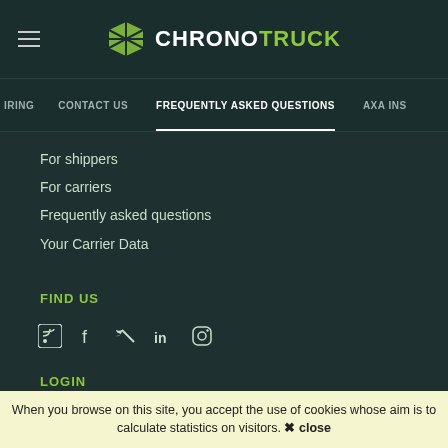CHRONOTRUCK
FREQUENTLY ASKED QUESTIONS
For shippers
For carriers
Frequently asked questions
Your Carrier Data
FIND US
[Figure (other): Social media icons: RSS, Facebook, Twitter, LinkedIn, Instagram]
LOGIN
Login
Forgotten password
When you browse on this site, you accept the use of cookies whose aim is to calculate statistics on visitors. ✖ close